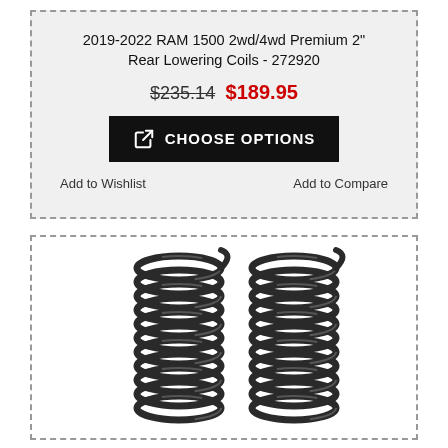2019-2022 RAM 1500 2wd/4wd Premium 2" Rear Lowering Coils - 272920
$235.14 $189.95
CHOOSE OPTIONS
Add to Wishlist
Add to Compare
[Figure (photo): Two dark gray coil springs (lowering springs for rear suspension) side by side on white background]